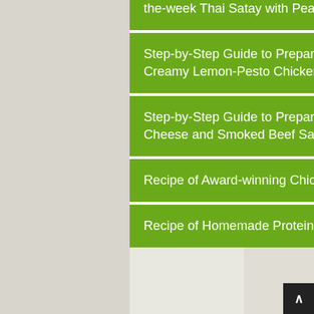the-week Thai Satay with Peanut Sauce
Step-by-Step Guide to Prepare Perfect MICROWAVE deep-dish Creamy Lemon-Pesto Chicken and Linguin ...
Step-by-Step Guide to Prepare Perfect Baked Pasta with Cheddar Cheese and Smoked Beef Sausage
Recipe of Award-winning Chicken tangdi in red goan masala
Recipe of Homemade Protein salad